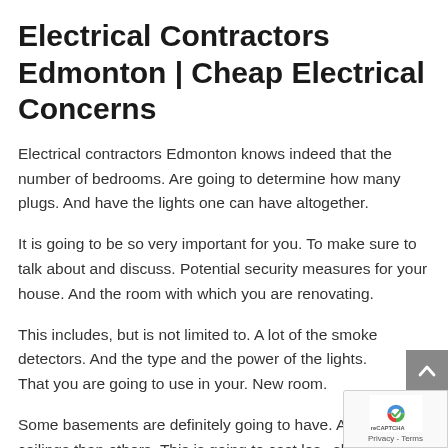Electrical Contractors Edmonton | Cheap Electrical Concerns
Electrical contractors Edmonton knows indeed that the number of bedrooms. Are going to determine how many plugs. And have the lights one can have altogether.
It is going to be so very important for you. To make sure to talk about and discuss. Potential security measures for your house. And the room with which you are renovating.
This includes, but is not limited to. A lot of the smoke detectors. And the type and the power of the lights. That you are going to use in your. New room.
Some basements are definitely going to have. A lot lower ceilings than others. This is going to cast less shadows. And it is going not to help with pot lights.